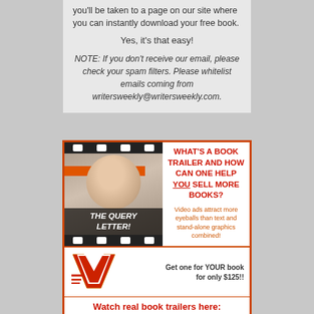you'll be taken to a page on our site where you can instantly download your free book.
Yes, it's that easy!
NOTE: If you don't receive our email, please check your spam filters. Please whitelist emails coming from writersweekly@writersweekly.com.
[Figure (illustration): Advertisement for book trailer service. Left side shows a film strip graphic with a smiling man and text 'THE QUERY LETTER!'. Right side has bold red headline 'WHAT'S A BOOK TRAILER AND HOW CAN ONE HELP YOU SELL MORE BOOKS?' with subtext 'Video ads attract more eyeballs than text and stand-alone graphics combined!' and 'Get one for YOUR book for only $125!!' with a W logo. Bottom banner reads 'Watch real book trailers here:']